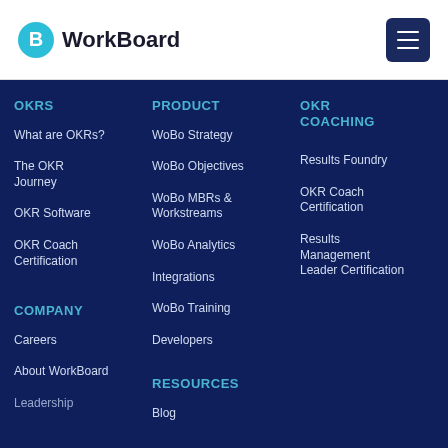[Figure (logo): WorkBoard logo with blue 'B' icon and bold text 'WorkBoard']
OKRS
What are OKRs?
The OKR Journey
OKR Software
OKR Coach Certification
COMPANY
Careers
About WorkBoard
Leadership
PRODUCT
WoBo Strategy
WoBo Objectives
WoBo MBRs & Workstreams
WoBo Analytics
Integrations
WoBo Training
Developers
RESOURCES
Blog
OKR COACHING
Results Foundry
OKR Coach Certification
Results Management Leader Certification